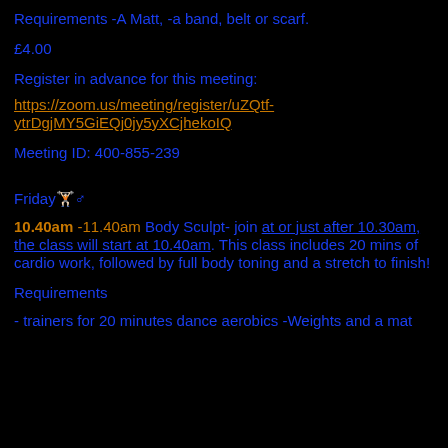Requirements -A Matt, -a band, belt or scarf.
£4.00
Register in advance for this meeting:
https://zoom.us/meeting/register/uZQtf-ytrDgjMY5GiEQj0jy5yXCjhekoIQ
Meeting ID: 400-855-239
Friday🏋♂
10.40am -11.40am Body Sculpt- join at or just after 10.30am, the class will start at 10.40am. This class includes 20 mins of cardio work, followed by full body toning and a stretch to finish!
Requirements
- trainers for 20 minutes dance aerobics -Weights and a mat